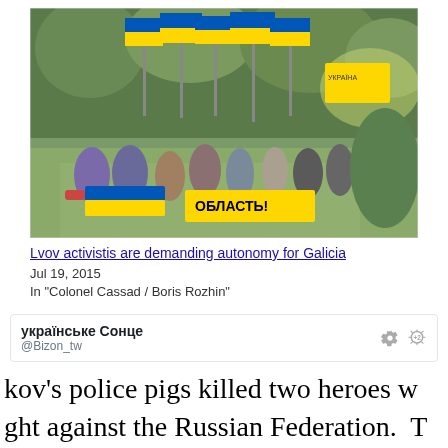[Figure (photo): Outdoor protest/march scene with people carrying large blue and yellow Ukrainian flags and yellow banners with Cyrillic text (ОБЛАСТЬ!) in a park setting on a sunny day.]
Lvov activistis are demanding autonomy for Galicia
Jul 19, 2015
In "Colonel Cassad / Boris Rozhin"
українське Сонце
@Bizon_tw
kov's police pigs killed two heroes w ght against the Russian Federation. T themselves did not fight. Now there v nass detentions of Praviy Sektor acr